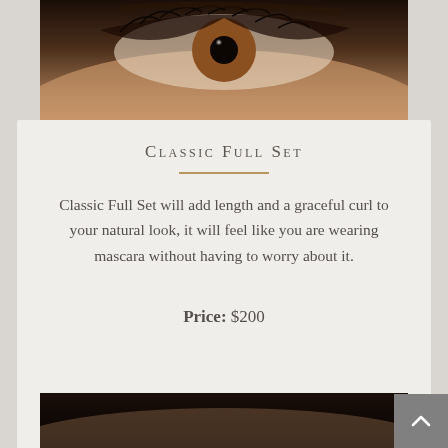[Figure (photo): Close-up photo of a human eye with long eyelashes and mascara, dark background]
Classic Full Set
Classic Full Set will add length and a graceful curl to your natural look, it will feel like you are wearing mascara without having to worry about it.
Price: $200
[Figure (photo): Bottom portion of a close-up eye photo, partially visible at the bottom of the page]